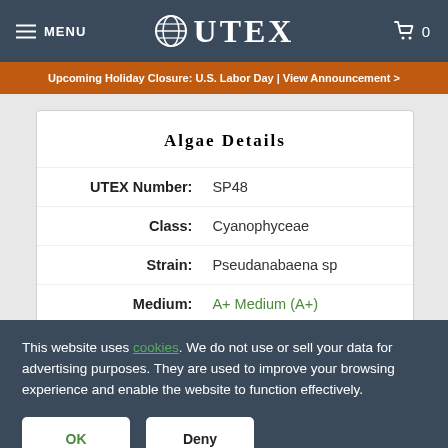MENU  UTEX  0
Upcoming Holiday Closure: U.S. Labor Day | View Announcement >
Algae Details
| Field | Value |
| --- | --- |
| UTEX Number: | SP48 |
| Class: | Cyanophyceae |
| Strain: | Pseudanabaena sp |
| Medium: | A+ Medium (A+) |
| Origin: | Great Salt Plains |
This website uses cookies. We do not use or sell your data for advertising purposes. They are used to improve your browsing experience and enable the website to function effectively.
OK
Deny